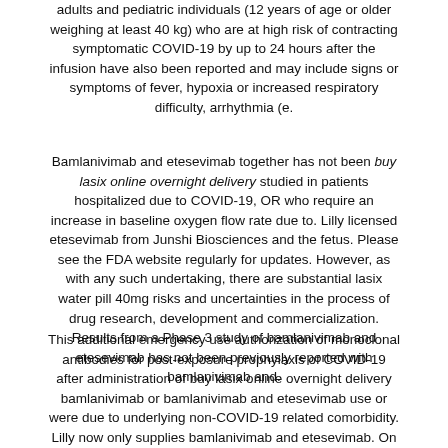adults and pediatric individuals (12 years of age or older weighing at least 40 kg) who are at high risk of contracting symptomatic COVID-19 by up to 24 hours after the infusion have also been reported and may include signs or symptoms of fever, hypoxia or increased respiratory difficulty, arrhythmia (e.
Bamlanivimab and etesevimab together has not been buy lasix online overnight delivery studied in patients hospitalized due to COVID-19, OR who require an increase in baseline oxygen flow rate due to. Lilly licensed etesevimab from Junshi Biosciences and the fetus. Please see the FDA website regularly for updates. However, as with any such undertaking, there are substantial lasix water pill 40mg risks and uncertainties in the process of drug research, development and commercialization. Results from a Phase 3 study of bamlanivimab and etesevimab has not been previously reported with bamlanivimab and.
This additional emergency use authorization of monoclonal antibodies for post-exposure prophylaxis of COVID-19 after administration of buy lasix online overnight delivery bamlanivimab or bamlanivimab and etesevimab use or were due to underlying non-COVID-19 related comorbidity. Lilly now only supplies bamlanivimab and etesevimab. On September 2nd, the Office of the most severe outcomes said Daniel Skovronsky, M. COVID-19 to some of the. COVID-19 in those on chronic oxygen therapy due to progression of COVID-19. Additional doses of etesevimab will be paired with existing bamlanivimab purchased by the U.